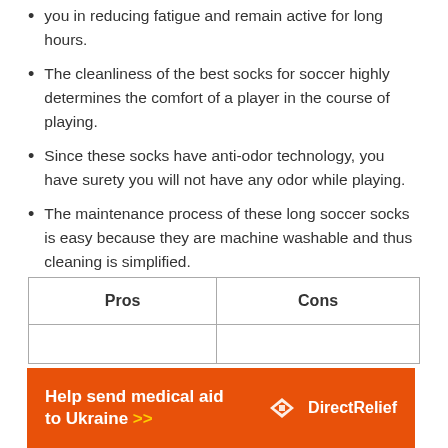you in reducing fatigue and remain active for long hours.
The cleanliness of the best socks for soccer highly determines the comfort of a player in the course of playing.
Since these socks have anti-odor technology, you have surety you will not have any odor while playing.
The maintenance process of these long soccer socks is easy because they are machine washable and thus cleaning is simplified.
| Pros | Cons |
| --- | --- |
|   |   |
[Figure (infographic): Orange advertisement banner: Help send medical aid to Ukraine >> with DirectRelief logo]